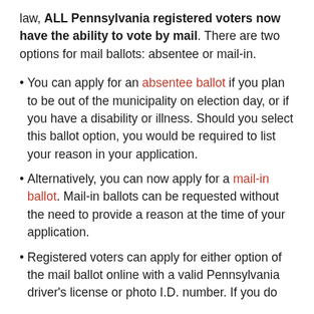law, ALL Pennsylvania registered voters now have the ability to vote by mail. There are two options for mail ballots: absentee or mail-in.
You can apply for an absentee ballot if you plan to be out of the municipality on election day, or if you have a disability or illness. Should you select this ballot option, you would be required to list your reason in your application.
Alternatively, you can now apply for a mail-in ballot. Mail-in ballots can be requested without the need to provide a reason at the time of your application.
Registered voters can apply for either option of the mail ballot online with a valid Pennsylvania driver's license or photo I.D. number. If you do